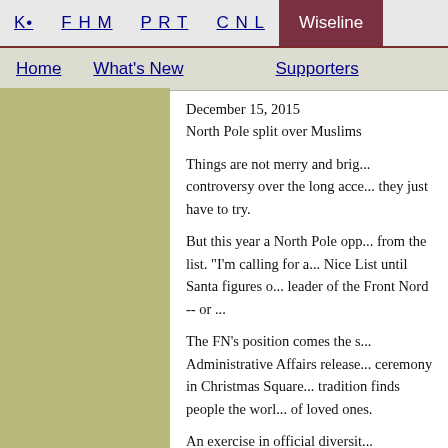K• | F H M | P R T | C N L | Wiseline | Home | What's New | Supporters
December 15, 2015
North Pole split over Muslims
Things are not merry and bright at the North Pole as controversy over the long accepted practice ... they just have to try.
But this year a North Pole opp... from the list. "I'm calling for a ... Nice List until Santa figures o... leader of the Front Nord -- or ...
The FN's position comes the s... Administrative Affairs release... ceremony in Christmas Square... tradition finds people the worl... of loved ones.
An exercise in official diversit...